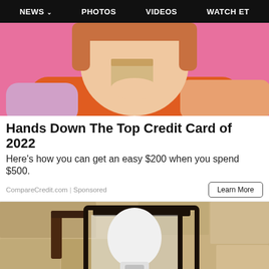NEWS  PHOTOS  VIDEOS  WATCH ET
[Figure (photo): Woman with pink background holding a credit card up near her face, smiling]
Hands Down The Top Credit Card of 2022
Here's how you can get an easy $200 when you spend $500.
CompareCredit.com | Sponsored
[Figure (photo): Close-up of a black outdoor lantern wall light on a textured stone wall, with a white security camera bulb inside]